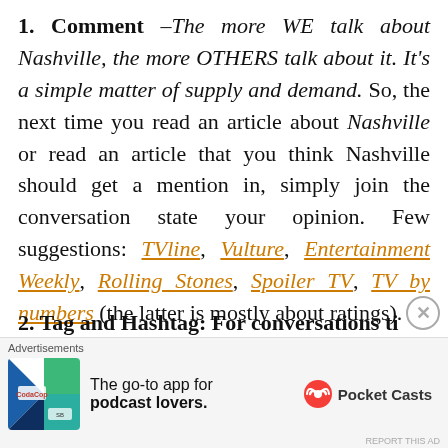1. Comment –The more WE talk about Nashville, the more OTHERS talk about it. It's a simple matter of supply and demand. So, the next time you read an article about Nashville or read an article that you think Nashville should get a mention in, simply join the conversation state your opinion. Few suggestions: TVline, Vulture, Entertainment Weekly, Rolling Stones, Spoiler TV, TV by numbers (the latter is mostly about ratings).
2. Tag and Hashtag: For conversations ti...